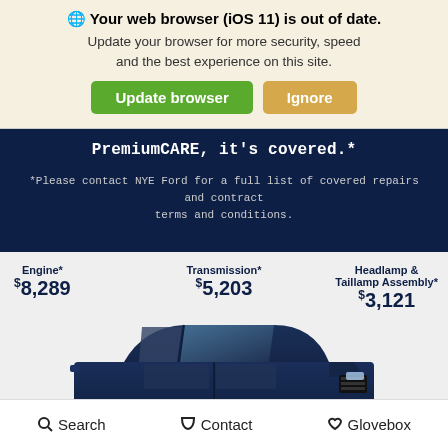🌐 Your web browser (iOS 11) is out of date. Update your browser for more security, speed and the best experience on this site.
Update browser | Ignore
PremiumCARE, it's covered.*
*Please contact NYE Ford for a full list of covered repairs and contract terms and conditions.
Engine* $8,289
Transmission* $5,203
Headlamp & Taillamp Assembly* $3,121
[Figure (photo): Partial front view of a dark blue Ford SUV/truck]
Search   Contact   Glovebox